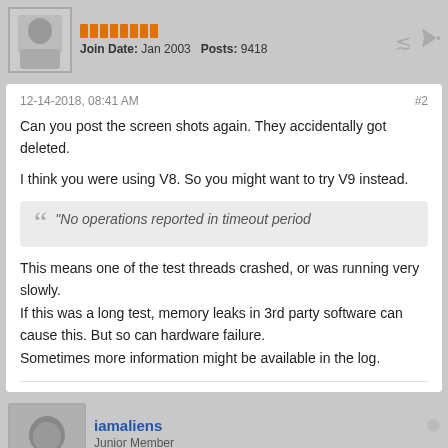Join Date: Jan 2003   Posts: 9418
12-14-2018, 08:41 AM    #2
Can you post the screen shots again. They accidentally got deleted.
I think you were using V8. So you might want to try V9 instead.
"No operations reported in timeout period
This means one of the test threads crashed, or was running very slowly.
If this was a long test, memory leaks in 3rd party software can cause this. But so can hardware failure.
Sometimes more information might be available in the log.
iamaliens
Junior Member
Join Date: Dec 2018   Posts: 4
12-17-2018, 03:12 AM    #3